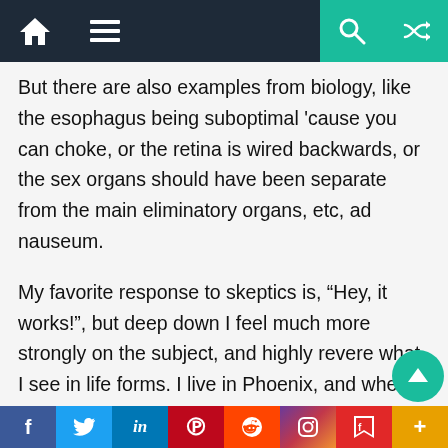[Navigation bar with home, menu, search, and random icons]
But there are also examples from biology, like the esophagus being suboptimal ‘cause you can choke, or the retina is wired backwards, or the sex organs should have been separate from the main eliminatory organs, etc, ad nauseum.
My favorite response to skeptics is, “Hey, it works!”, but deep down I feel much more strongly on the subject, and highly revere what I see in life forms. I live in Phoenix, and when I get into my car in the summer and turn on the A/C, it blows God awful hot air for several minutes until the evaporator coils coil sufficiently, and the air inputting the evaporator has cooled a little so that the exchange (air coming c
[Social share buttons: Facebook, Twitter, LinkedIn, Pinterest, Reddit, Instagram, Flipboard, Plus]